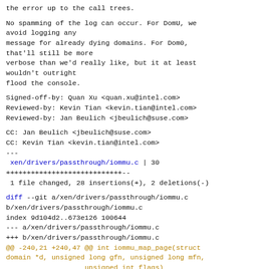the error up to the call trees.
No spamming of the log can occur. For DomU, we avoid logging any
message for already dying domains. For Dom0,
that'll still be more
verbose than we'd really like, but it at least wouldn't outright
flood the console.
Signed-off-by: Quan Xu <quan.xu@intel.com>
Reviewed-by: Kevin Tian <kevin.tian@intel.com>
Reviewed-by: Jan Beulich <jbeulich@suse.com>
CC: Jan Beulich <jbeulich@suse.com>
CC: Kevin Tian <kevin.tian@intel.com>
---
 xen/drivers/passthrough/iommu.c | 30
++++++++++++++++++++++++++++--
 1 file changed, 28 insertions(+), 2 deletions(-)
diff --git a/xen/drivers/passthrough/iommu.c b/xen/drivers/passthrough/iommu.c
index 9d104d2..673e126 100644
--- a/xen/drivers/passthrough/iommu.c
+++ b/xen/drivers/passthrough/iommu.c
@@ -240,21 +240,47 @@ int iommu_map_page(struct domain *d, unsigned long gfn, unsigned long mfn,
                   unsigned int flags)
 {